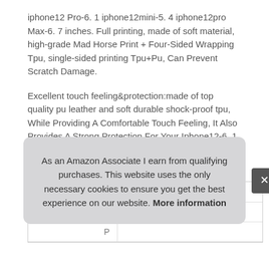iphone12 Pro-6. 1 iphone12mini-5. 4 iphone12pro Max-6. 7 inches. Full printing, made of soft material, high-grade Mad Horse Print + Four-Sided Wrapping Tpu, single-sided printing Tpu+Pu, Can Prevent Scratch Damage.
Excellent touch feeling&protection:made of top quality pu leather and soft durable shock-proof tpu, While Providing A Comfortable Touch Feeling, It Also Provides A Strong Protection For Your Iphone12-6. 1 iphone12 Pro-6. 1 iphone12mini-5. 4 iphone12pro Max-6. 7 inch.
|  |  |
| --- | --- |
| Brand | Funhome #ad |
| Ma |  |
| P |  |
As an Amazon Associate I earn from qualifying purchases. This website uses the only necessary cookies to ensure you get the best experience on our website. More information